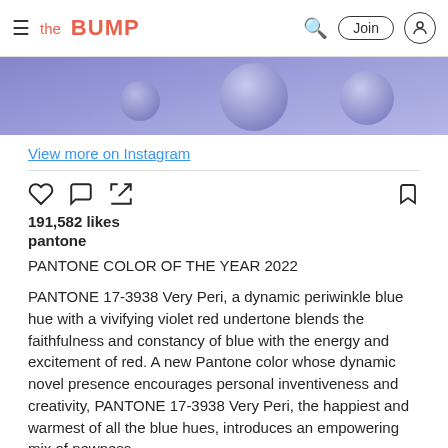the BUMP — Join
[Figure (photo): Purple/periwinkle background with spherical blueish-purple orbs/bubbles]
View more on Instagram
191,582 likes
pantone
PANTONE COLOR OF THE YEAR 2022
PANTONE 17-3938 Very Peri, a dynamic periwinkle blue hue with a vivifying violet red undertone blends the faithfulness and constancy of blue with the energy and excitement of red. A new Pantone color whose dynamic novel presence encourages personal inventiveness and creativity, PANTONE 17-3938 Very Peri, the happiest and warmest of all the blue hues, introduces an empowering mix of newness.
We are living in transformative times. As we emerge from an intense period of isolation, our notions and standards are